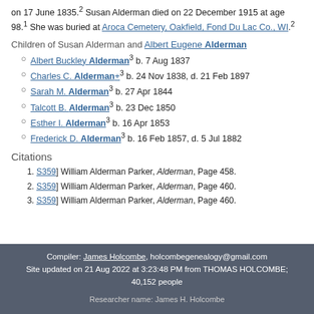on 17 June 1835.² Susan Alderman died on 22 December 1915 at age 98.¹ She was buried at Aroca Cemetery, Oakfield, Fond Du Lac Co., WI.²
Children of Susan Alderman and Albert Eugene Alderman
Albert Buckley Alderman³ b. 7 Aug 1837
Charles C. Alderman+³ b. 24 Nov 1838, d. 21 Feb 1897
Sarah M. Alderman³ b. 27 Apr 1844
Talcott B. Alderman³ b. 23 Dec 1850
Esther I. Alderman³ b. 16 Apr 1853
Frederick D. Alderman³ b. 16 Feb 1857, d. 5 Jul 1882
Citations
[S359] William Alderman Parker, Alderman, Page 458.
[S359] William Alderman Parker, Alderman, Page 460.
[S359] William Alderman Parker, Alderman, Page 460.
Compiler: James Holcombe, holcombegenealogy@gmail.com Site updated on 21 Aug 2022 at 3:23:48 PM from THOMAS HOLCOMBE; 40,152 people Researcher name: James H. Holcombe